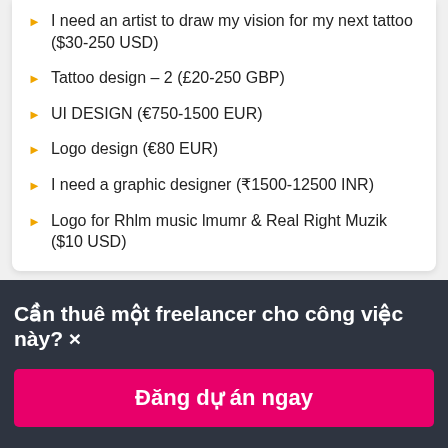I need an artist to draw my vision for my next tattoo ($30-250 USD)
Tattoo design – 2 (£20-250 GBP)
UI DESIGN (€750-1500 EUR)
Logo design (€80 EUR)
I need a graphic designer (₹1500-12500 INR)
Logo for Rhlm music lmumr & Real Right Muzik ($10 USD)
Cần thuê một freelancer cho công việc này? ×
Đăng dự án ngay